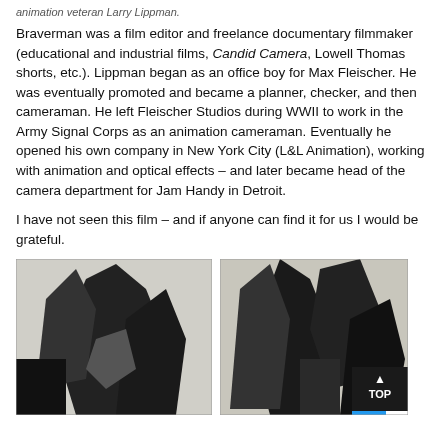animation veteran Larry Lippman.
Braverman was a film editor and freelance documentary filmmaker (educational and industrial films, Candid Camera, Lowell Thomas shorts, etc.). Lippman began as an office boy for Max Fleischer. He was eventually promoted and became a planner, checker, and then cameraman. He left Fleischer Studios during WWII to work in the Army Signal Corps as an animation cameraman. Eventually he opened his own company in New York City (L&L Animation), working with animation and optical effects – and later became head of the camera department for Jam Handy in Detroit.
I have not seen this film – and if anyone can find it for us I would be grateful.
[Figure (photo): Black and white grainy image of animated or illustrated figures, dark silhouettes]
[Figure (photo): Black and white grainy image of animated or illustrated figures, dark silhouettes, with a 'TOP' navigation button overlay in bottom right]